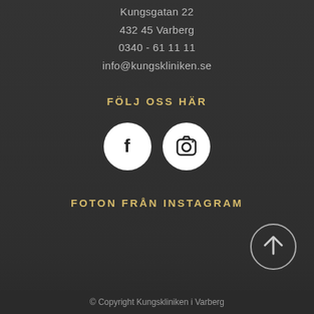Kungsgatan 22
432 45 Varberg
0340 - 61 11 11
info@kungskliniken.se
FÖLJ OSS HÄR
[Figure (illustration): Two white circular social media icons: Facebook (f) and Instagram (camera icon)]
FOTON FRÅN INSTAGRAM
[Figure (illustration): Circular scroll-to-top button with upward arrow, positioned bottom right]
© Copyright Kungskliniken i Varberg